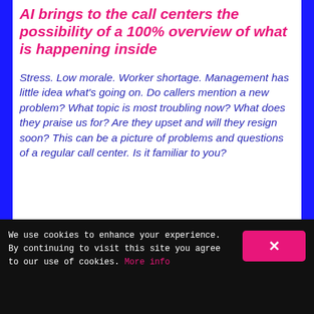AI brings to the call centers the possibility of a 100% overview of what is happening inside
Stress. Low morale. Worker shortage. Management has little idea what's going on. Do callers mention a new problem? What topic is most troubling now? What does they praise us for? Are they upset and will they resign soon? This can be a picture of problems and questions of a regular call center. Is it familiar to you?
[Figure (screenshot): Dark background product screenshot showing 'SentiSquare_ Call Center Analytics' logo in monospace font and large pink bold text reading 'THE PERFECT TOOL']
We use cookies to enhance your experience. By continuing to visit this site you agree to our use of cookies. More info